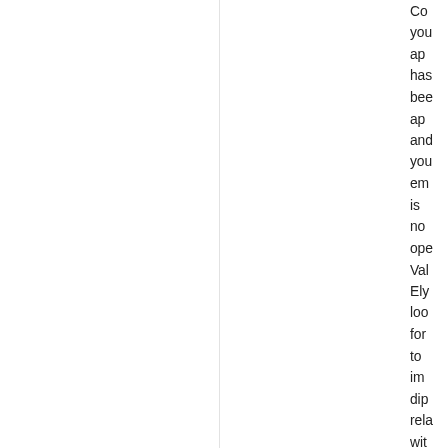Co you app has bee app and you em is no ope Val Ely loo for to im dip rela wit you
Mir